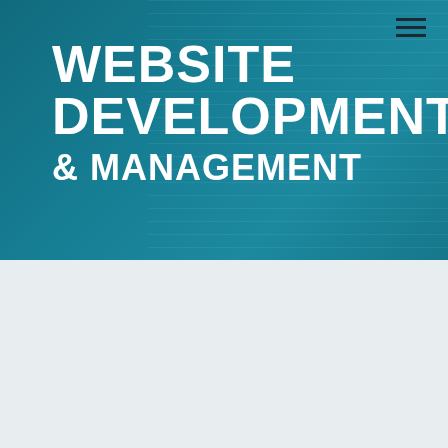[Figure (illustration): Top banner with teal/dark blue background showing website code imagery. Bold white text reads 'WEBSITE DEVELOPMENT & MANAGEMENT'. A hamburger menu icon is in the top right corner.]
[Figure (illustration): Lower section with light grey-blue background. A tilted card/document overlaid with reversed bold white text reading 'E-MAIL MARKETING' rotated 180 degrees.]